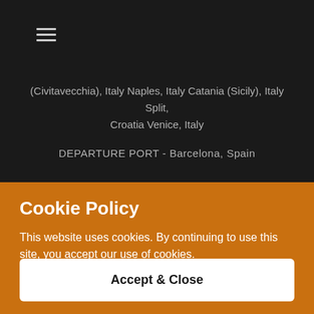≡
(Civitavecchia), Italy Naples, Italy Catania (Sicily), Italy Split, Croatia Venice, Italy
DEPARTURE PORT - Barcelona, Spain
Cookie Policy
This website uses cookies. By continuing to use this site, you accept our use of cookies.
Accept & Close